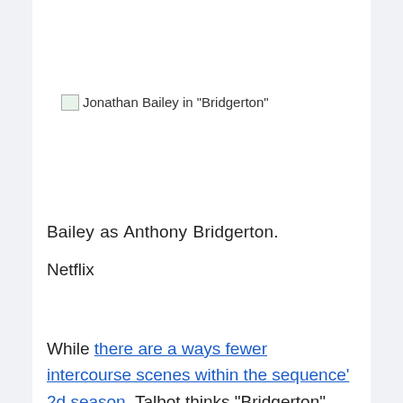[Figure (photo): Broken image placeholder with alt text: Jonathan Bailey in "Bridgerton"]
Bailey as Anthony Bridgerton.
Netflix
While there are a ways fewer intercourse scenes within the sequence’ 2d season, Talbot thinks “Bridgerton” remains to be simply as sensual because it was once in season one.
“It’s a different season of the show…